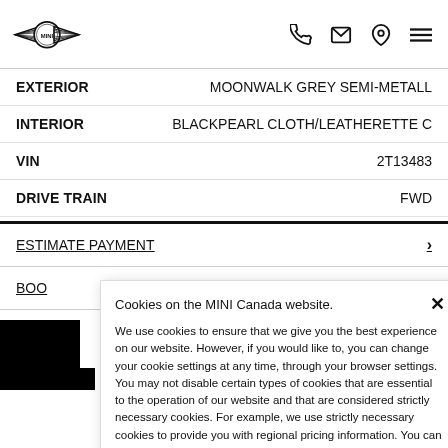[Figure (logo): MINI logo with wings]
EXTERIOR    MOONWALK GREY SEMI-METALL
INTERIOR    BLACKPEARL CLOTH/LEATHERETTE C
VIN    2T13483
DRIVE TRAIN    FWD
ESTIMATE PAYMENT
BOO
Cookies on the MINI Canada website.

We use cookies to ensure that we give you the best experience on our website. However, if you would like to, you can change your cookie settings at any time, through your browser settings. You may not disable certain types of cookies that are essential to the operation of our website and that are considered strictly necessary cookies. For example, we use strictly necessary cookies to provide you with regional pricing information. You can find detailed information about how cookies are used on this website by clicking here.